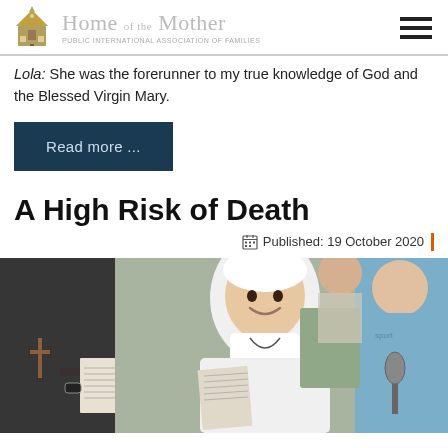Home of the Mother — Public International Association of Families
Lola: She was the forerunner to my true knowledge of God and the Blessed Virgin Mary.
Read more ...
A High Risk of Death
Published: 19 October 2020
[Figure (photo): A smiling nun in white habit holding an open book, with people around her including someone in a black habit and others in blue shirts; a microphone is visible.]